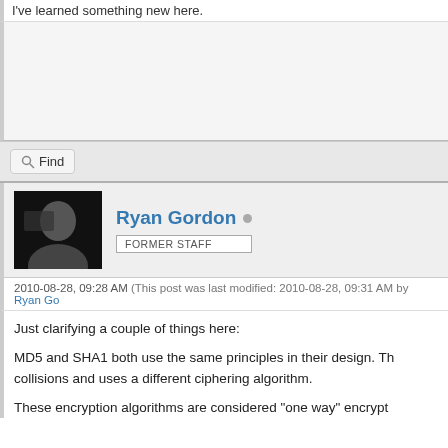I've learned something new here.
[Figure (other): Advertisement or blank content area]
Find
Ryan Gordon  FORMER STAFF
2010-08-28, 09:28 AM (This post was last modified: 2010-08-28, 09:31 AM by Ryan Go
Just clarifying a couple of things here:
MD5 and SHA1 both use the same principles in their design. Th collisions and uses a different ciphering algorithm.
These encryption algorithms are considered "one way" encrypt